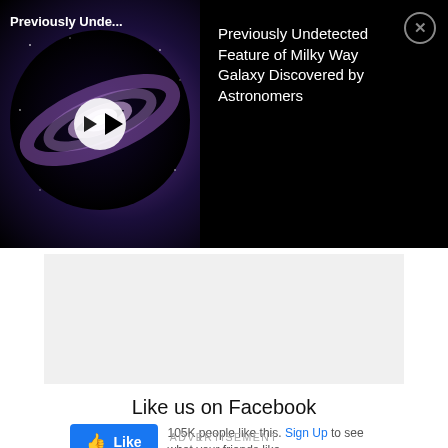[Figure (screenshot): Video thumbnail showing a galaxy image with a play button, and title 'Previously Undetected Feature of Milky Way Galaxy Discovered by Astronomers' on a black background]
Like us on Facebook
105K people like this. Sign Up to see what your friends like.
Please SHARE this with your friends and family.
Article Source...
ADVERTISEMENT